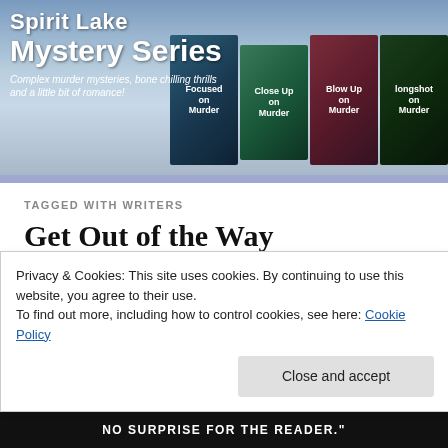[Figure (illustration): Spirit Lake Mystery Series banner header showing series title text on left and four book covers on right (Focused on Murder, Close Up on Murder, Blow Up on Murder, longshot on Murder) with a misty lake background and italic subtitle: Complex murder mysteries, bone chilling thrills and a little bit of romance!]
TAGGED WITH WRITERS
Get Out of the Way
[Figure (photo): Dark moody photo with warm amber/golden tones showing a swirling texture against a black background, possibly a close-up of hair or natural material]
Privacy & Cookies: This site uses cookies. By continuing to use this website, you agree to their use.
To find out more, including how to control cookies, see here: Cookie Policy
Close and accept
NO SURPRISE FOR THE READER."